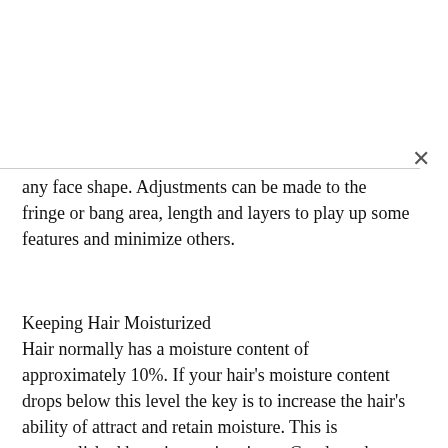any face shape. Adjustments can be made to the fringe or bang area, length and layers to play up some features and minimize others.
Keeping Hair Moisturized
Hair normally has a moisture content of approximately 10%. If your hair's moisture content drops below this level the key is to increase the hair's ability of attract and retain moisture. This is accomplished by using moisturizers. Good one have « humectants » that not only replace lost moisture but actually attract moisture and retain it in the cortex of the hair. Essential fatty aids (EFA's) are great moisturizers.